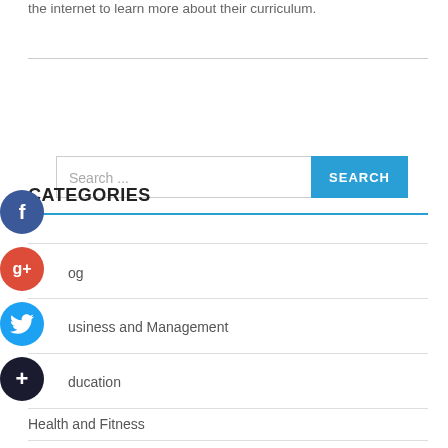the internet to learn more about their curriculum.
[Figure (screenshot): Search bar with text placeholder 'Search ...' and blue SEARCH button]
CATEGORIES
Blog
Business and Management
Education
Health and Fitness